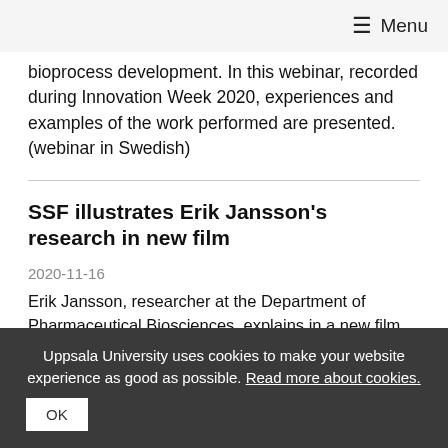≡ Menu
bioprocess development. In this webinar, recorded during Innovation Week 2020, experiences and examples of the work performed are presented. (webinar in Swedish)
SSF illustrates Erik Jansson's research in new film
2020-11-16
Erik Jansson, researcher at the Department of Pharmaceutical Biosciences, explains in a new film from the Swedish Foundation for Strategic Research his work of increasing our knowledge of the body's signaling system between brain and cells.
Uppsala University uses cookies to make your website experience as good as possible. Read more about cookies. OK